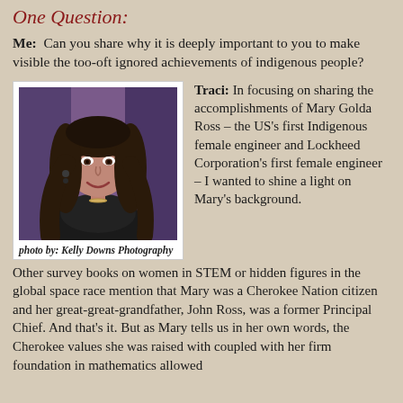One Question:
Me:  Can you share why it is deeply important to you to make visible the too-oft ignored achievements of indigenous people?
[Figure (photo): Portrait photo of Traci (a woman with long dark hair, smiling, wearing a dark jacket and necklace) in front of a purple background. Photo credit: Kelly Downs Photography.]
photo by: Kelly Downs Photography
Traci: In focusing on sharing the accomplishments of Mary Golda Ross – the US's first Indigenous female engineer and Lockheed Corporation's first female engineer – I wanted to shine a light on Mary's background. Other survey books on women in STEM or hidden figures in the global space race mention that Mary was a Cherokee Nation citizen and her great-great-grandfather, John Ross, was a former Principal Chief. And that's it. But as Mary tells us in her own words, the Cherokee values she was raised with coupled with her firm foundation in mathematics allowed her to blaze the trails she did. And above all this, as she got